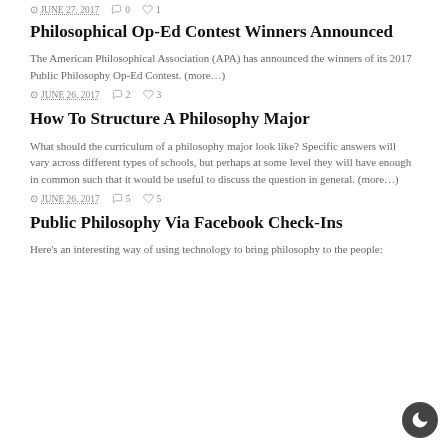JUNE 27, 2017  0  1
Philosophical Op-Ed Contest Winners Announced
The American Philosophical Association (APA) has announced the winners of its 2017 Public Philosophy Op-Ed Contest. (more…)
JUNE 26, 2017  2  3
How To Structure A Philosophy Major
What should the curriculum of a philosophy major look like? Specific answers will vary across different types of schools, but perhaps at some level they will have enough in common such that it would be useful to discuss the question in general. (more…)
JUNE 26, 2017  5  5
Public Philosophy Via Facebook Check-Ins
Here's an interesting way of using technology to bring philosophy to the people: